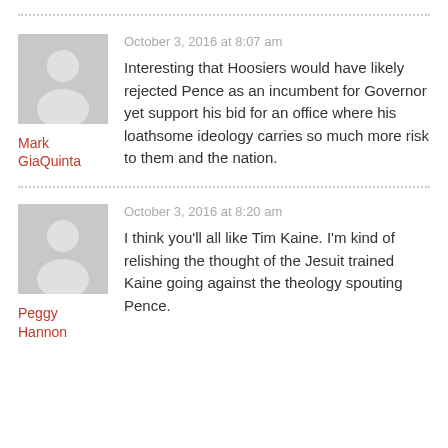[Figure (illustration): Grey avatar placeholder icon for user Mark GiaQuinta]
Mark GiaQuinta
October 3, 2016 at 8:07 am
Interesting that Hoosiers would have likely rejected Pence as an incumbent for Governor yet support his bid for an office where his loathsome ideology carries so much more risk to them and the nation.
[Figure (illustration): Grey avatar placeholder icon for user Peggy Hannon]
Peggy Hannon
October 3, 2016 at 8:20 am
I think you'll all like Tim Kaine. I'm kind of relishing the thought of the Jesuit trained Kaine going against the theology spouting Pence.